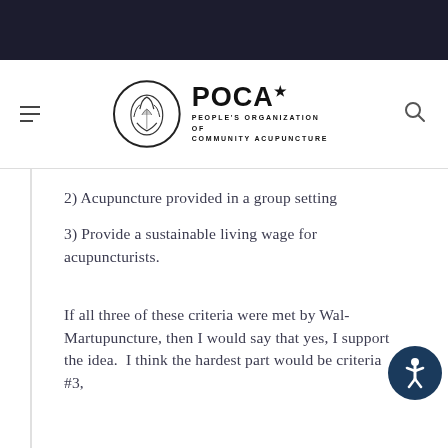POCA* PEOPLE'S ORGANIZATION of COMMUNITY ACUPUNCTURE
2) Acupuncture provided in a group setting
3) Provide a sustainable living wage for acupuncturists.
If all three of these criteria were met by Wal-Martupuncture, then I would say that yes, I support the idea.  I think the hardest part would be criteria #3,